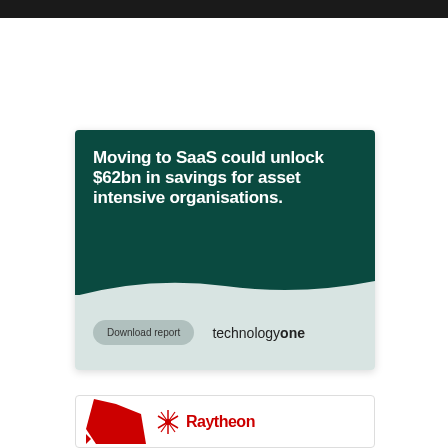[Figure (infographic): Advertisement card for TechnologyOne on dark teal background. Headline: 'Moving to SaaS could unlock $62bn in savings for asset intensive organisations.' with a 'Download report' button and TechnologyOne logo.]
[Figure (logo): Partial advertisement card showing red shape logo and Raytheon brand name in red.]